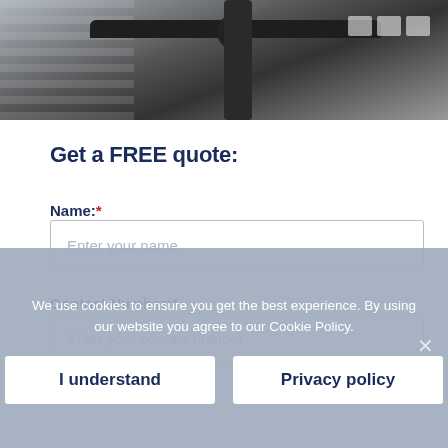[Figure (photo): Photograph of black guttering and downpipe on the exterior of a house with white-rendered walls.]
Get a FREE quote:
Name:*
Enter your name
Contact Number:*
Enter your contact number
Postcode:
We use cookies to ensure you get the best experience. By using our website you agree to our Cookie Policy.
I understand
Privacy policy